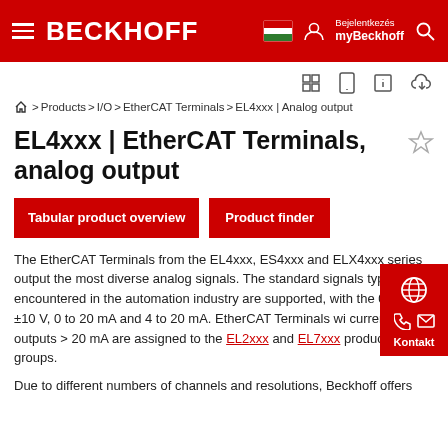BECKHOFF
⌂ > Products > I/O > EtherCAT Terminals > EL4xxx | Analog output
EL4xxx | EtherCAT Terminals, analog output
Tabular product overview | Product finder
The EtherCAT Terminals from the EL4xxx, ES4xxx and ELX4xxx series output the most diverse analog signals. The standard signals types encountered in the automation industry are supported, with the 0 to 10 V, ±10 V, 0 to 20 mA and 4 to 20 mA. EtherCAT Terminals with current outputs > 20 mA are assigned to the EL2xxx and EL7xxx product groups.
Due to different numbers of channels and resolutions, Beckhoff offers